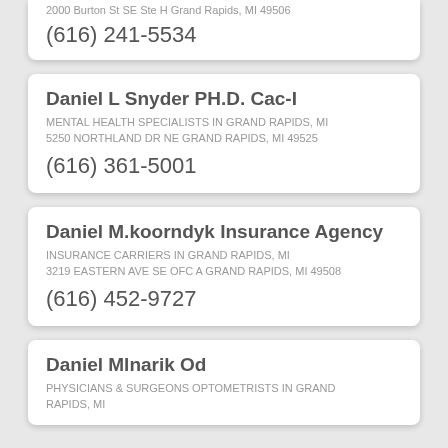2000 Burton St SE Ste H Grand Rapids, MI 49506
(616) 241-5534
Daniel L Snyder PH.D. Cac-I
MENTAL HEALTH SPECIALISTS IN GRAND RAPIDS, MI
5250 Northland Dr NE Grand Rapids, MI 49525
(616) 361-5001
Daniel M.koorndyk Insurance Agency
INSURANCE CARRIERS IN GRAND RAPIDS, MI
3219 Eastern Ave Se Ofc A Grand Rapids, MI 49508
(616) 452-9727
Daniel Mlnarik Od
PHYSICIANS & SURGEONS OPTOMETRISTS IN GRAND RAPIDS, MI